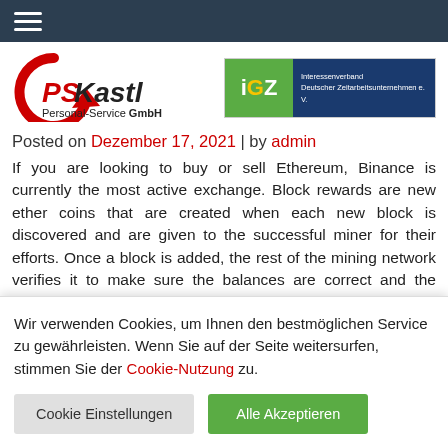PSKastl Personal-Service GmbH | iGZ Interessenverband Deutscher Zeitarbeitsunternehmen e.V.
Posted on Dezember 17, 2021 | by admin
If you are looking to buy or sell Ethereum, Binance is currently the most active exchange. Block rewards are new ether coins that are created when each new block is discovered and are given to the successful miner for their efforts. Once a block is added, the rest of the mining network verifies it to make sure the balances are correct and the transaction isn't a "double-spend," i.e., someone isn't trying to spend money they don't
Wir verwenden Cookies, um Ihnen den bestmöglichen Service zu gewährleisten. Wenn Sie auf der Seite weitersurfen, stimmen Sie der Cookie-Nutzung zu.
Cookie Einstellungen
Alle Akzeptieren